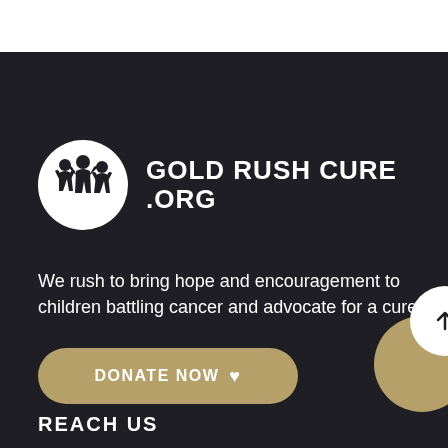[Figure (logo): Gold Rush Cure .org logo: white circle with black silhouette of children figures, next to bold white text reading GOLD RUSH CURE .ORG]
We rush to bring hope and encouragement to children battling cancer and advocate for a cure.
DONATE NOW ♥
REACH US